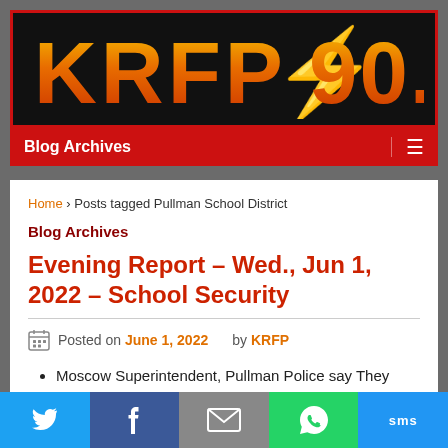[Figure (logo): KRFP 90.3 radio station logo with orange/red gradient lettering and teal lightning bolt on black background with red border]
Blog Archives
Home › Posts tagged Pullman School District
Blog Archives
Evening Report – Wed., Jun 1, 2022 – School Security
Posted on June 1, 2022 by KRFP
Moscow Superintendent, Pullman Police say They Have Prepared for Emergencies, Including School Shootings
[Figure (infographic): Social share bar with Twitter, Facebook, Email, WhatsApp, and SMS buttons]